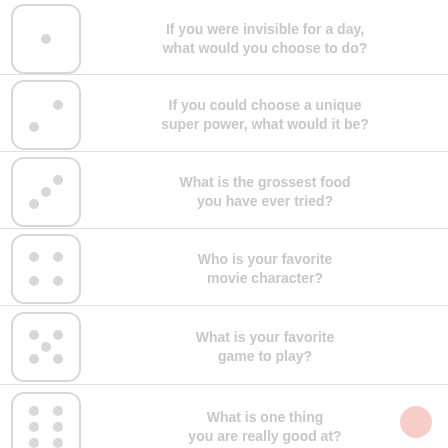If you were invisible for a day, what would you choose to do?
If you could choose a unique super power, what would it be?
What is the grossest food you have ever tried?
Who is your favorite movie character?
What is your favorite game to play?
What is one thing you are really good at?